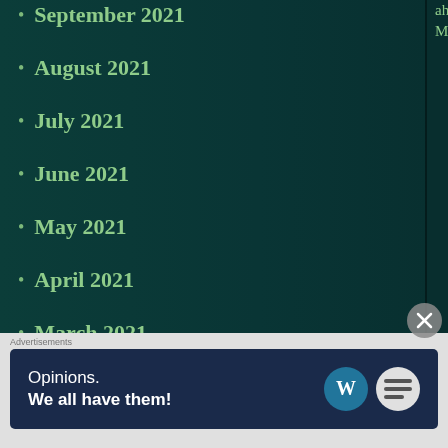September 2021
August 2021
July 2021
June 2021
May 2021
April 2021
March 2021
February 2021
January 2021
December 2020
November 2020
October 2020
September 2020
[Figure (photo): Thumbnail image 1 - person at food counter]
Fi ce sh
[Figure (photo): Thumbnail image 2 - two women]
No Ro a h Ta
[Figure (photo): Thumbnail image 3 - person in red jacket]
Pa Ac kn th
Advertisements
[Figure (screenshot): WordPress advertisement banner: Opinions. We all have them!]